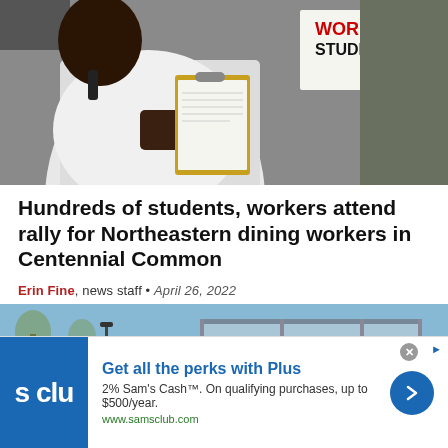[Figure (photo): Person in white shirt holding a clipboard at a rally, with protest signs visible in the background including text 'WORKER STUDENT']
Hundreds of students, workers attend rally for Northeastern dining workers in Centennial Common
Erin Fine, news staff • April 26, 2022
[Figure (photo): Outdoor scene showing a glass-roofed structure and bare trees at a university campus]
[Figure (other): Advertisement for Sam's Club Plus membership. Get all the perks with Plus. 2% Sam's Cash™. On qualifying purchases, up to $500/year. www.samsclub.com]